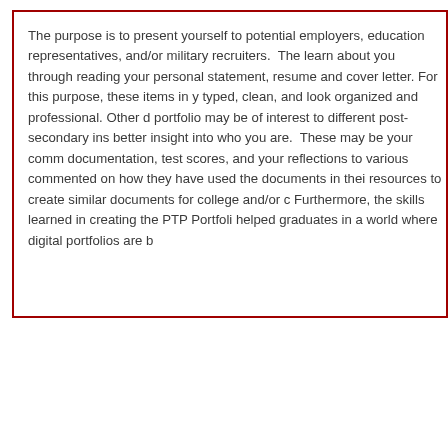The purpose is to present yourself to potential employers, education representatives, and/or military recruiters. They learn about you through reading your personal statement, resume and cover letter. For this purpose, these items in y typed, clean, and look organized and professional. Other d portfolio may be of interest to different post-secondary ins better insight into who you are. These may be your comm documentation, test scores, and your reflections to various commented on how they have used the documents in thei resources to create similar documents for college and/or c Furthermore, the skills learned in creating the PTP Portfoli helped graduates in a world where digital portfolios are b